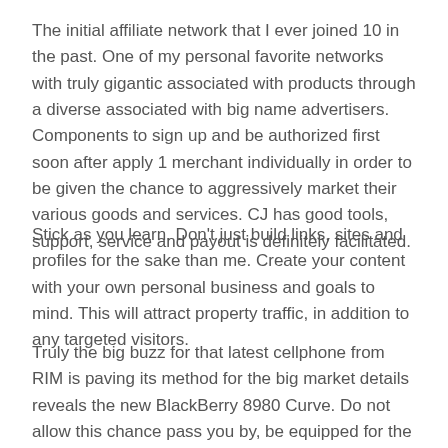The initial affiliate network that I ever joined 10 in the past. One of my personal favorite networks with truly gigantic associated with products through a diverse associated with big name advertisers. Components to sign up and be authorized first soon after apply 1 merchant individually in order to be given the chance to aggressively market their various goods and services. CJ has good tools, support, service and payout is definitely facilitated.
Stick as you learn. Don't just build links, sites and profiles for the sake than me. Create your content with your own personal business and goals to mind. This will attract property traffic, in addition to any targeted visitors.
Truly the big buzz for that latest cellphone from RIM is paving its method for the big market details reveals the new BlackBerry 8980 Curve. Do not allow this chance pass you by, be equipped for the release of your dream BlackBerry cell phone.